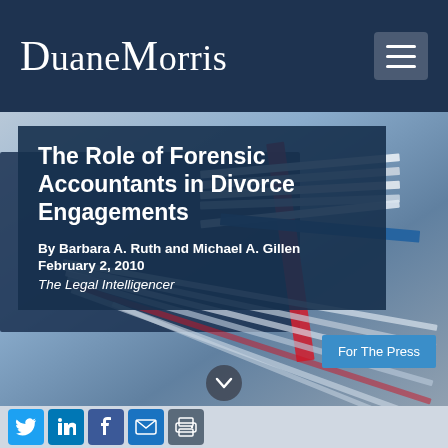Duane Morris
[Figure (photo): Stack of colorful books/magazines with blue, red, and white pages fanned open, blurred background]
The Role of Forensic Accountants in Divorce Engagements
By Barbara A. Ruth and Michael A. Gillen
February 2, 2010
The Legal Intelligencer
For The Press
[Figure (infographic): Social media sharing icons: Twitter, LinkedIn, Facebook, Email, Print]